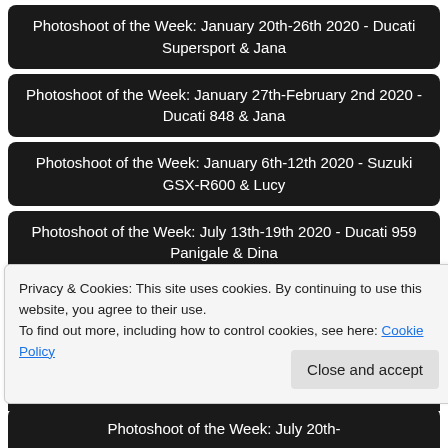Photoshoot of the Week: January 20th-26th 2020 - Ducati Supersport & Jana
Photoshoot of the Week: January 27th-February 2nd 2020 - Ducati 848 & Jana
Photoshoot of the Week: January 6th-12th 2020 - Suzuki GSX-R600 & Lucy
Photoshoot of the Week: July 13th-19th 2020 - Ducati 959 Panigale & Dina
Photoshoot of the Week: July 15th -21st 2019 - Suzuki GSX-R600 & Sammy Marques
Photoshoot of the Week: July 1st-7th 2019 - Diana Boreyko &
Privacy & Cookies: This site uses cookies. By continuing to use this website, you agree to their use.
To find out more, including how to control cookies, see here: Cookie Policy
Photoshoot of the Week: July 20th-...